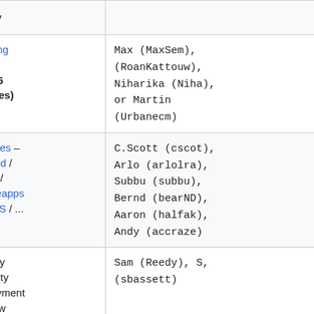| Time | Event | People |
| --- | --- | --- |
| 10:30 PDT | deploy |  |
| 18:00–19:00 UTC # 11:00–12:00 PDT | Morning SWAT (Max 6 patches) | Max (MaxSem), (RoanKattouw), Niharika (Niha), or Martin (Urbanecm) |
| 20:00–21:00 UTC # 13:00–14:00 PDT | Services – Parsoid / Citoid / Mobileapps / ORES / ... | C.Scott (cscot), Arlo (arlolra), Subbu (subbu), Bernd (bearND), Aaron (halfak), Andy (accraze) |
| 21:00–23:00 UTC # 14:00–16:00 PDT | Weekly Security deployment window | Sam (Reedy), S, (sbassett) |
| 23:00–00:00 UTC | Evening | Max (MaxSem), (RoanKattouw) |